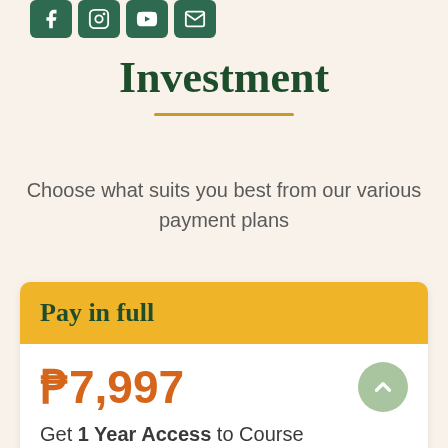[Figure (illustration): Four social media icon buttons (Facebook, Instagram, YouTube, Email) in dark green rounded squares]
Investment
Choose what suits you best from our various payment plans
Pay in full
₱7,997
Get 1 Year Access to Course